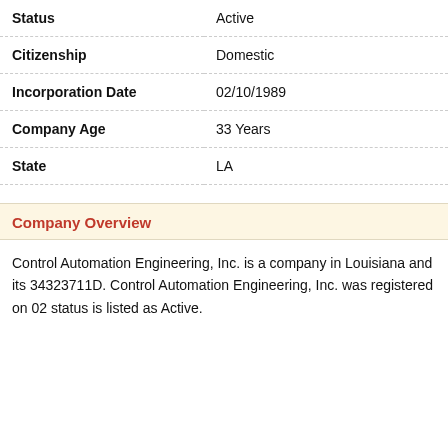| Field | Value |
| --- | --- |
| Status | Active |
| Citizenship | Domestic |
| Incorporation Date | 02/10/1989 |
| Company Age | 33 Years |
| State | LA |
Company Overview
Control Automation Engineering, Inc. is a company in Louisiana and its 34323711D. Control Automation Engineering, Inc. was registered on 02 status is listed as Active.